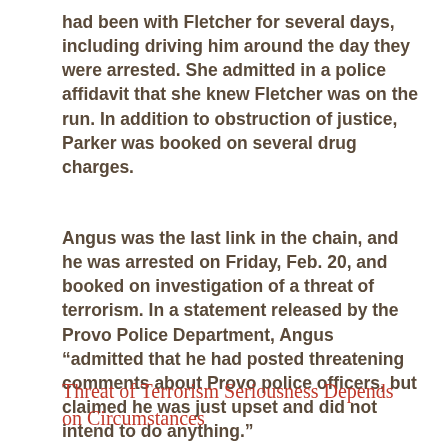had been with Fletcher for several days, including driving him around the day they were arrested. She admitted in a police affidavit that she knew Fletcher was on the run. In addition to obstruction of justice, Parker was booked on several drug charges.
Angus was the last link in the chain, and he was arrested on Friday, Feb. 20, and booked on investigation of a threat of terrorism. In a statement released by the Provo Police Department, Angus “admitted that he had posted threatening comments about Provo police officers, but claimed he was just upset and did not intend to do anything.”
Threat of Terrorism Seriousness Depends on Circumstances